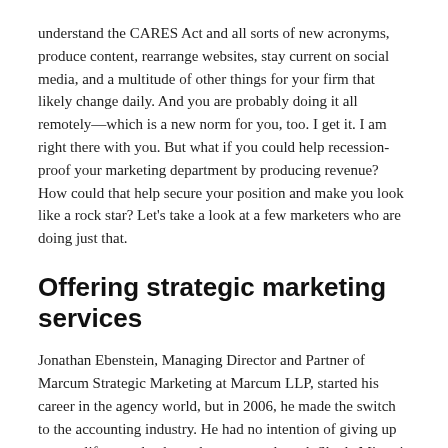understand the CARES Act and all sorts of new acronyms, produce content, rearrange websites, stay current on social media, and a multitude of other things for your firm that likely change daily. And you are probably doing it all remotely—which is a new norm for you, too. I get it. I am right there with you. But what if you could help recession-proof your marketing department by producing revenue? How could that help secure your position and make you look like a rock star? Let's take a look at a few marketers who are doing just that.
Offering strategic marketing services
Jonathan Ebenstein, Managing Director and Partner of Marcum Strategic Marketing at Marcum LLP, started his career in the agency world, but in 2006, he made the switch to the accounting industry. He had no intention of giving up agency life completely, and went on to launch Skoda Minotti Strategic Marketing, a full-service marketing agency, in 2009 at then-named Skoda Minotti. He spent his first few years establishing trust within his partner group and making sure the firm had earned "brand permission" to